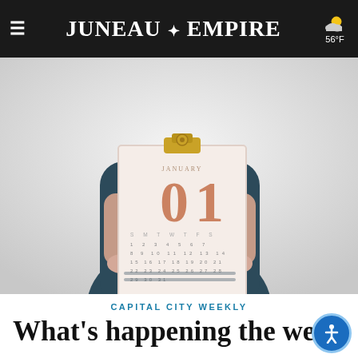Juneau Empire  56°F
[Figure (photo): Person in a dark navy top holding a clipboard with a January calendar showing '01' in large copper/rose-gold numerals, against a light background.]
CAPITAL CITY WEEKLY
What's happening the week